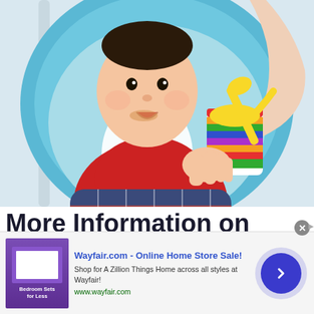[Figure (photo): A baby in a blue bouncer/high chair seat wearing a red long-sleeve shirt and plaid pants, being fed with a yellow spoon from a striped cup by an adult's hand. The baby has food on their face.]
More Information on Cloth Wipes
and Cloth Diapers: DIY...
[Figure (other): Advertisement banner for Wayfair.com - Online Home Store Sale! Shows a purple bedroom sets ad image on the left, ad text in the center, and a blue circular arrow button on the right. Title: Wayfair.com - Online Home Store Sale! Subtext: Shop for A Zillion Things Home across all styles at Wayfair! URL: www.wayfair.com]